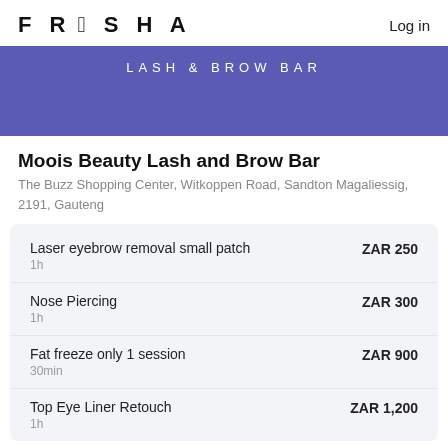FRESHA   Log in
[Figure (illustration): Purple banner with text LASH & BROW BAR in white spaced letters]
Moois Beauty Lash and Brow Bar
The Buzz Shopping Center, Witkoppen Road, Sandton Magaliessig, 2191, Gauteng
| Service | Duration | Price |
| --- | --- | --- |
| Laser eyebrow removal small patch | 1h | ZAR 250 |
| Nose Piercing | 1h | ZAR 300 |
| Fat freeze only 1 session | 30min | ZAR 900 |
| Top Eye Liner Retouch | 1h | ZAR 1,200 |